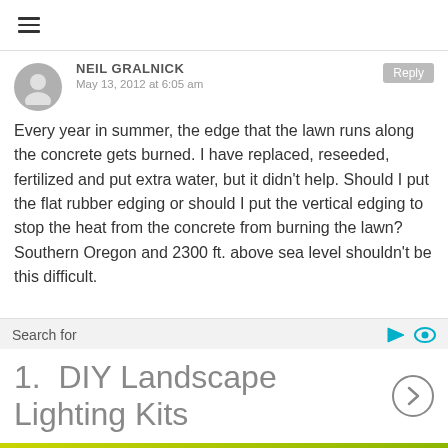[Figure (other): Hamburger menu icon (three horizontal lines)]
NEIL GRALNICK
May 13, 2012 at 6:05 am
Every year in summer, the edge that the lawn runs along the concrete gets burned. I have replaced, reseeded, fertilized and put extra water, but it didn't help. Should I put the flat rubber edging or should I put the vertical edging to stop the heat from the concrete from burning the lawn? Southern Oregon and 2300 ft. above sea level shouldn't be this difficult.
Search for
1.  DIY Landscape Lighting Kits